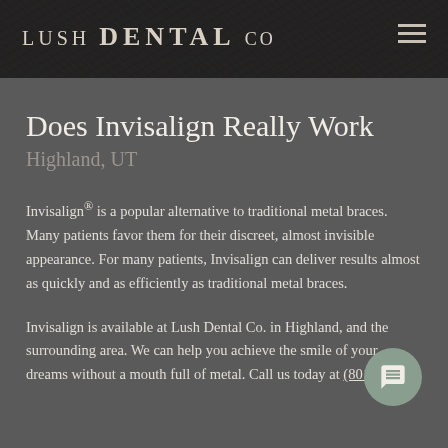LUSH DENTAL CO
Does Invisalign Really Work
Highland, UT
Invisalign® is a popular alternative to traditional metal braces. Many patients favor them for their discreet, almost invisible appearance. For many patients, Invisalign can deliver results almost as quickly and as efficiently as traditional metal braces.
Invisalign is available at Lush Dental Co. in Highland, and the surrounding area. We can help you achieve the smile of your dreams without a mouth full of metal. Call us today at (801)